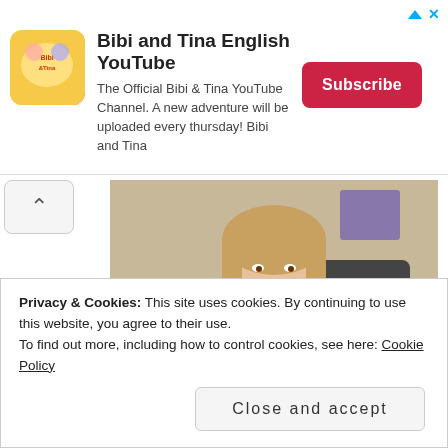[Figure (screenshot): Ad banner for Bibi and Tina English YouTube channel with logo, description text, and Subscribe button]
Bibi and Tina English YouTube
The Official Bibi & Tina YouTube Channel. A new adventure will be uploaded every thursday! Bibi and Tina
[Figure (photo): A smiling woman holding a laptop showing text 'Book a Personalized Consultation']
Privacy & Cookies: This site uses cookies. By continuing to use this website, you agree to their use.
To find out more, including how to control cookies, see here: Cookie Policy